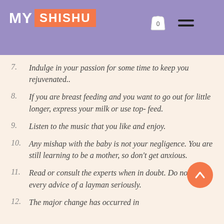MY SHISHU
7. Indulge in your passion for some time to keep you rejuvenated..
8. If you are breast feeding and you want to go out for little longer, express your milk or use top- feed.
9. Listen to the music that you like and enjoy.
10. Any mishap with the baby is not your negligence. You are still learning to be a mother, so don't get anxious.
11. Read or consult the experts when in doubt. Do not take every advice of a layman seriously.
12. The major change has occurred in